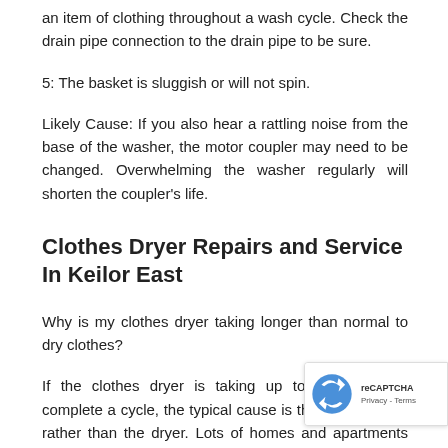an item of clothing throughout a wash cycle. Check the drain pipe connection to the drain pipe to be sure.
5: The basket is sluggish or will not spin.
Likely Cause: If you also hear a rattling noise from the base of the washer, the motor coupler may need to be changed. Overwhelming the washer regularly will shorten the coupler’s life.
Clothes Dryer Repairs and Service In Keilor East
Why is my clothes dryer taking longer than normal to dry clothes?
If the clothes dryer is taking up to 2-3 hours to complete a cycle, the typical cause is the exhaust vent rather than the dryer. Lots of homes and apartments have insufficient dryer vent systems that are either too long or have a lot of bends. The outcome is a vent filled with combustible lint and a slow-performing dryer.
If the top of the dryer is actually hot to the touch or if you smell something burning, examine further. Switch on the clothes dryer, find where the vent exits the home and understanding of movement at the outside wall cap. If you feel no air-flow, st... think the vent. There are lots of trustworthy vent cleaning business in